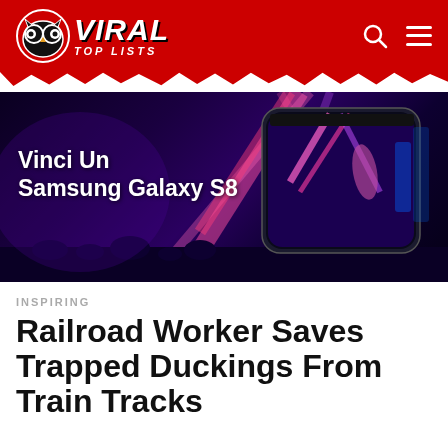VIRAL TOP LISTS
[Figure (photo): Advertisement banner for Samsung Galaxy S8 contest with dark concert/nightclub background, laser lights, crowd silhouette, and Samsung Galaxy S8 phone image. Text reads 'Vinci Un Samsung Galaxy S8']
INSPIRING
Railroad Worker Saves Trapped Duckings From Train Tracks